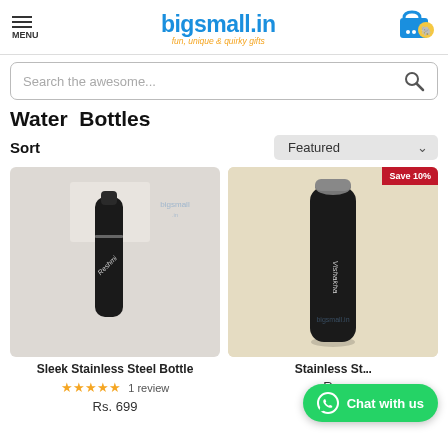bigsmall.in - fun, unique & quirky gifts
Search the awesome...
Water Bottles
Sort  Featured
[Figure (photo): Black sleek stainless steel bottle lying diagonally on a white surface]
Sleek Stainless Steel Bottle
★★★★★ 1 review
Rs. 699
[Figure (photo): Black stainless steel bottle with 'Vishakha' engraved, on beige background. Save 10% badge in top right.]
Stainless St... 
Rs.
Chat with us